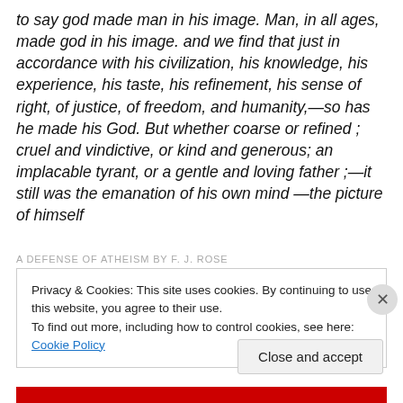to say god made man in his image. Man, in all ages, made god in his image. and we find that just in accordance with his civilization, his knowledge, his experience, his taste, his refinement, his sense of right, of justice, of freedom, and humanity,—so has he made his God. But whether coarse or refined ; cruel and vindictive, or kind and generous; an implacable tyrant, or a gentle and loving father ;—it still was the emanation of his own mind —the picture of himself
A DEFENSE OF ATHEISM BY F. J. ROSE
Privacy & Cookies: This site uses cookies. By continuing to use this website, you agree to their use.
To find out more, including how to control cookies, see here: Cookie Policy